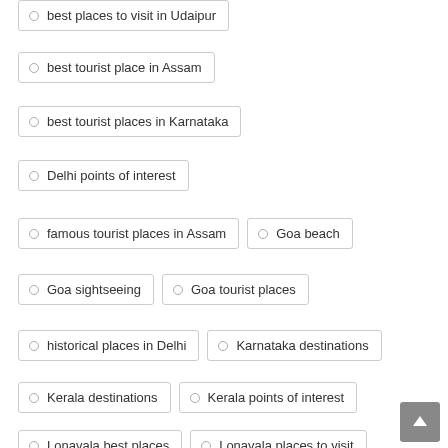best places to visit in Udaipur
best tourist place in Assam
best tourist places in Karnataka
Delhi points of interest
famous tourist places in Assam
Goa beach
Goa sightseeing
Goa tourist places
historical places in Delhi
Karnataka destinations
Kerala destinations
Kerala points of interest
Lonavala best places
Lonavala places to visit
Lonavala sightseeing
Lonavala to Pune local
Lonavala tourist places
places in Lonavala